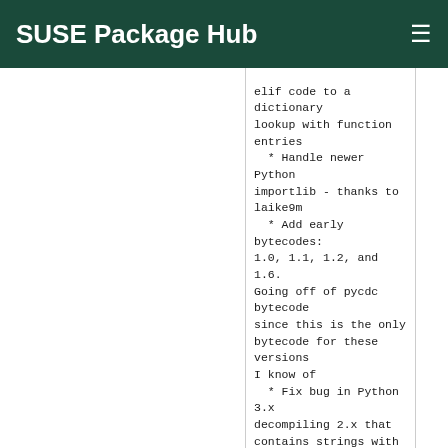SUSE Package Hub
elif code to a dictionary lookup with function entries
  * Handle newer Python importlib - thanks to laike9m
  * Add early bytecodes: 1.0, 1.1, 1.2, and 1.6. Going off of pycdc bytecode since this is the only bytecode for these versions I know of
  * Fix bug in Python 3.x decompiling 2.x that contains strings with non-ascii characters
  * More generally, better handling of non-ascii Python 2 strings in both input and output in Python 3
  * pypy 3.6-7.1.0 tolerance
* Fri Oct 04 2019 Tomá? Chvátal <tchvatal@suse.com>
    - Update to 4.0.4:
      * Add most-recent 3.8 magic number
      * Remove some 3.8 invalid escape warnings
* Mon Aug 19 2019 Tomá? Chvátal <tchvatal@suse.com>
    - Update to 4.0.3: